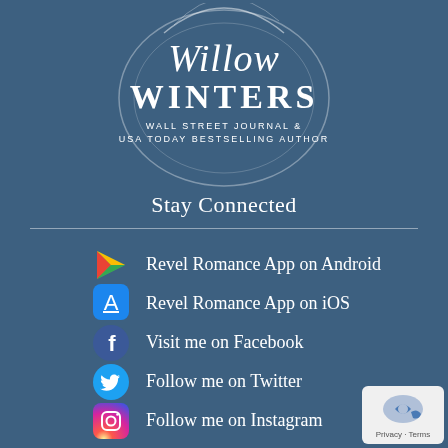[Figure (logo): Willow Winters author logo — circular swirl design with script 'Willow' and serif 'WINTERS' text, subtitle 'Wall Street Journal & USA Today Bestselling Author']
Stay Connected
Revel Romance App on Android
Revel Romance App on iOS
Visit me on Facebook
Follow me on Twitter
Follow me on Instagram